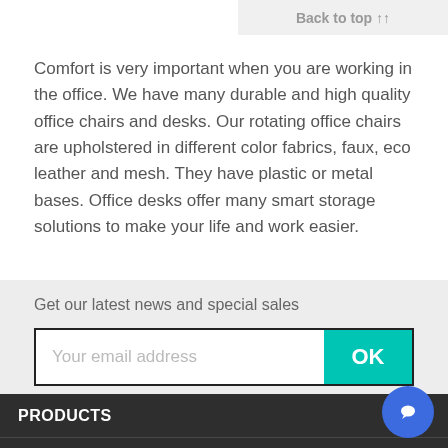Back to top ↑↑
Comfort is very important when you are working in the office. We have many durable and high quality office chairs and desks. Our rotating office chairs are upholstered in different color fabrics, faux, eco leather and mesh. They have plastic or metal bases. Office desks offer many smart storage solutions to make your life and work easier.
Get our latest news and special sales
Your email address
OK
PRODUCTS
[Figure (logo): Payl8r logo with infinity-style icon and text]
OUR COMPANY